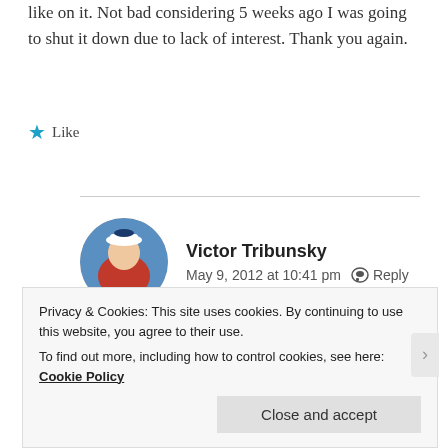like on it. Not bad considering 5 weeks ago I was going to shut it down due to lack of interest. Thank you again.
★ Like
Victor Tribunsky
May 9, 2012 at 10:41 pm  Reply
Thank You and good luck.
Privacy & Cookies: This site uses cookies. By continuing to use this website, you agree to their use.
To find out more, including how to control cookies, see here: Cookie Policy
Close and accept